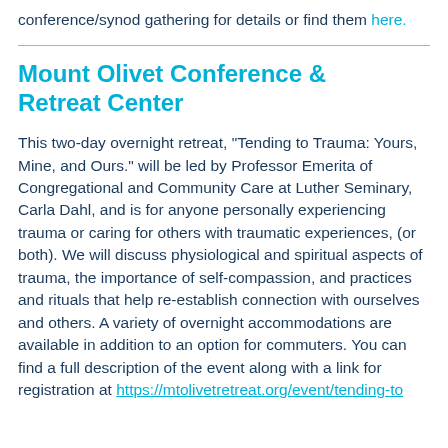conference/synod gathering for details or find them here.
Mount Olivet Conference & Retreat Center
This two-day overnight retreat, "Tending to Trauma: Yours, Mine, and Ours." will be led by Professor Emerita of Congregational and Community Care at Luther Seminary, Carla Dahl, and is for anyone personally experiencing trauma or caring for others with traumatic experiences, (or both). We will discuss physiological and spiritual aspects of trauma, the importance of self-compassion, and practices and rituals that help re-establish connection with ourselves and others. A variety of overnight accommodations are available in addition to an option for commuters. You can find a full description of the event along with a link for registration at https://mtolivetretreat.org/event/tending-to